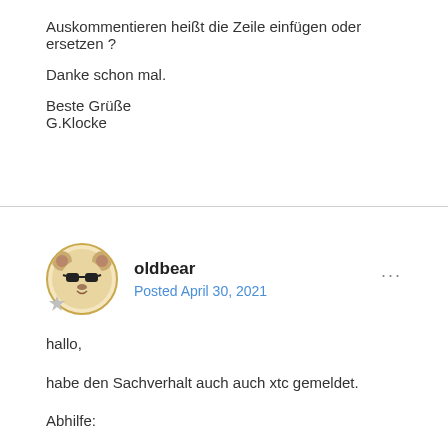Auskommentieren heißt die Zeile einfügen oder ersetzen ?
Danke schon mal.
Beste Grüße
G.Klocke
oldbear
Posted April 30, 2021
hallo,
habe den Sachverhalt auch auch xtc gemeldet.
Abhilfe:
in der class.products_price.php auskommentieren: